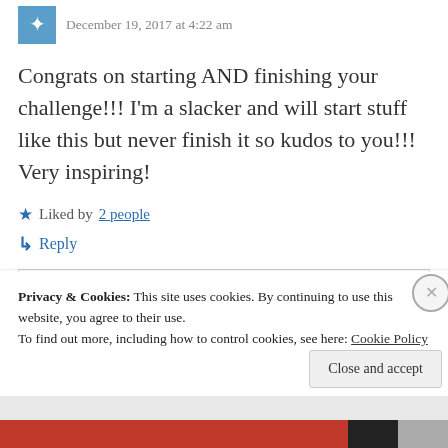December 19, 2017 at 4:22 am
Congrats on starting AND finishing your challenge!!! I'm a slacker and will start stuff like this but never finish it so kudos to you!!! Very inspiring!
Liked by 2 people
Reply
Privacy & Cookies: This site uses cookies. By continuing to use this website, you agree to their use.
To find out more, including how to control cookies, see here: Cookie Policy
Close and accept